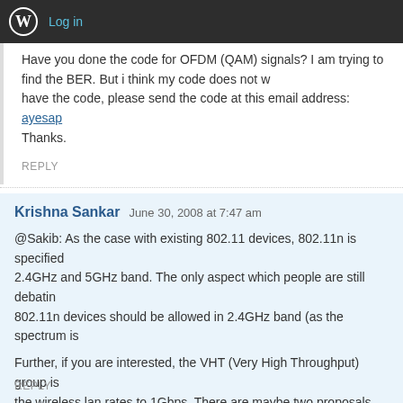Log in
Have you done the code for OFDM (QAM) signals? I am trying to find the BER. But i think my code does not work. If you have the code, please send the code at this email address: ayesap... Thanks.
REPLY
Krishna Sankar  June 30, 2008 at 7:47 am
@Sakib: As the case with existing 802.11 devices, 802.11n is specified to work in 2.4GHz and 5GHz band. The only aspect which people are still debating is whether 802.11n devices should be allowed in 2.4GHz band (as the spectrum is
Further, if you are interested, the VHT (Very High Throughput) group is working on pushing the wireless lan rates to 1Gbps. There are maybe two proposals, one using 5GHz band and the other using 60GHz band (overlap with 802.15.3c). You may find https://mentor.ieee.org/802.11/documents?x_group=0vht&x_options=0
REPLY